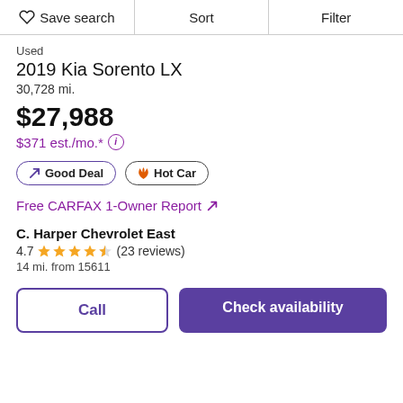Save search | Sort | Filter
Used
2019 Kia Sorento LX
30,728 mi.
$27,988
$371 est./mo.*
Good Deal | Hot Car
Free CARFAX 1-Owner Report ↗
C. Harper Chevrolet East
4.7 ★★★★½ (23 reviews)
14 mi. from 15611
Call | Check availability